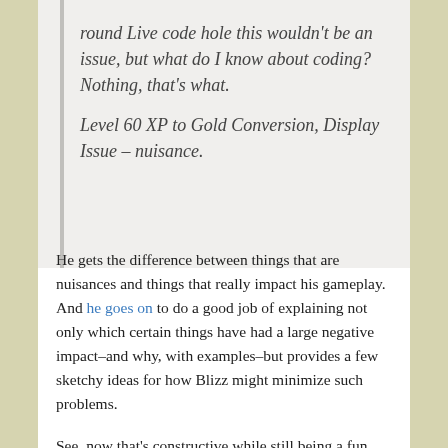round Live code hole this wouldn't be an issue, but what do I know about coding? Nothing, that's what.
Level 60 XP to Gold Conversion, Display Issue – nuisance.
He gets the difference between things that are nuisances and things that really impact his gameplay. And he goes on to do a good job of explaining not only which certain things have had a large negative impact–and why, with examples–but provides a few sketchy ideas for how Blizz might minimize such problems.
See, now that's constructive while still being a fun and entertaining rant to read.
Since I don't raid, the whole thing has been a lot easier